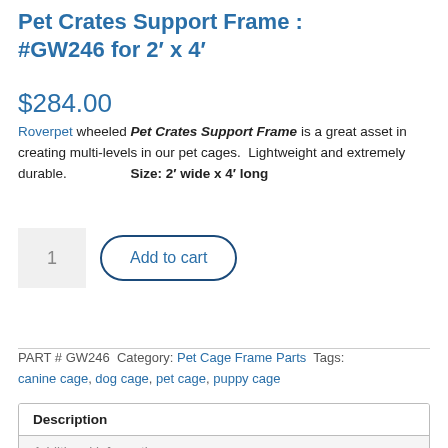Pet Crates Support Frame : #GW246 for 2′ x 4′
$284.00
Roverpet wheeled Pet Crates Support Frame is a great asset in creating multi-levels in our pet cages.  Lightweight and extremely durable.    Size: 2′ wide x 4′ long
1  Add to cart
PART # GW246 Category: Pet Cage Frame Parts Tags: canine cage, dog cage, pet cage, puppy cage
| Description |
| Additional information |